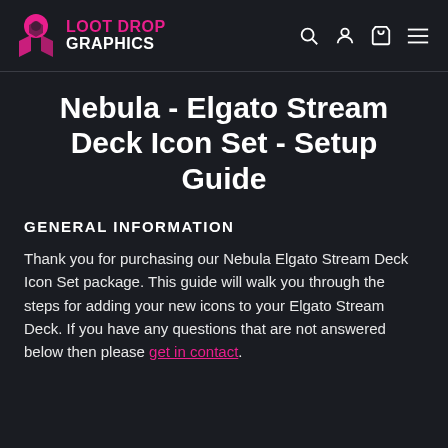LOOT DROP GRAPHICS
Nebula - Elgato Stream Deck Icon Set - Setup Guide
GENERAL INFORMATION
Thank you for purchasing our Nebula Elgato Stream Deck Icon Set package. This guide will walk you through the steps for adding your new icons to your Elgato Stream Deck. If you have any questions that are not answered below then please get in contact.